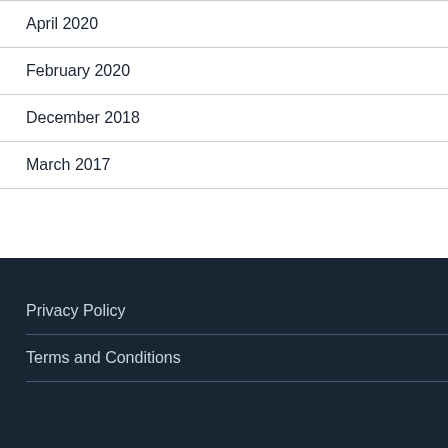April 2020
February 2020
December 2018
March 2017
Privacy Policy
Terms and Conditions